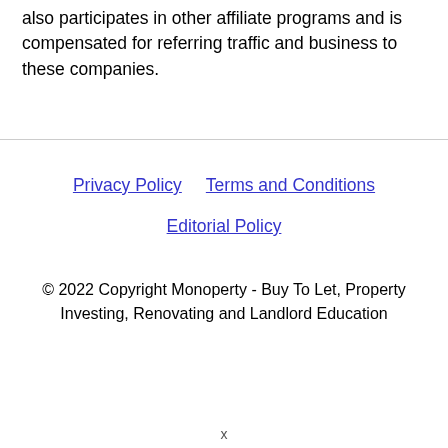also participates in other affiliate programs and is compensated for referring traffic and business to these companies.
Privacy Policy   Terms and Conditions
Editorial Policy
© 2022 Copyright Monoperty - Buy To Let, Property Investing, Renovating and Landlord Education
x